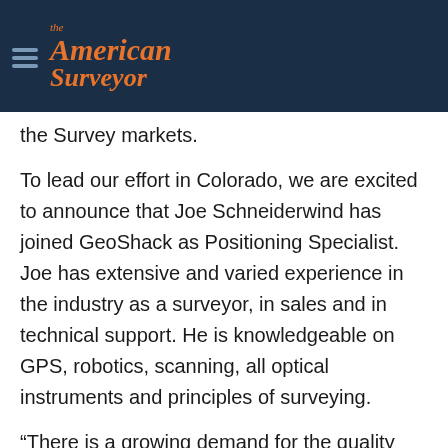The American Surveyor
the Survey markets.
To lead our effort in Colorado, we are excited to announce that Joe Schneiderwind has joined GeoShack as Positioning Specialist. Joe has extensive and varied experience in the industry as a surveyor, in sales and in technical support. He is knowledgeable on GPS, robotics, scanning, all optical instruments and principles of surveying.
“There is a growing demand for the quality products that Topcon & Sokkia provide in the survey market”, said Brad Neeley, Regional Manager for GeoShack. “I’m excited that with our